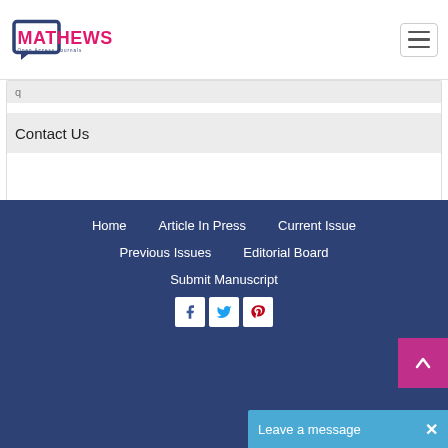[Figure (logo): Mathews Open Access Journals logo with chat bubble icon in dark blue and pink text]
Contact Us
Home   Article In Press   Current Issue   Previous Issues   Editorial Board   Submit Manuscript
Leave a message  ×